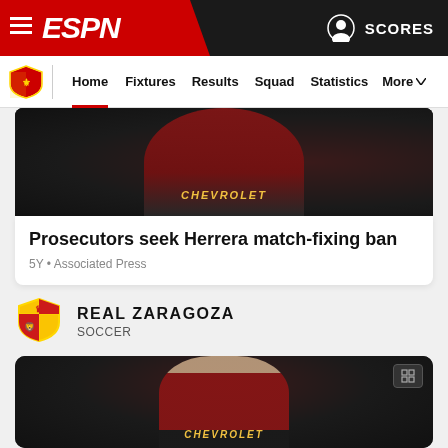ESPN - Home | Fixtures | Results | Squad | Statistics | More | SCORES
[Figure (screenshot): ESPN top navigation bar with hamburger menu, ESPN logo on red background, user icon and SCORES link]
[Figure (screenshot): Secondary navigation bar with Real Zaragoza shield logo and links: Home (active), Fixtures, Results, Squad, Statistics, More]
[Figure (photo): Manchester United player in red Chevrolet jersey, cropped at torso, action shot]
Prosecutors seek Herrera match-fixing ban
5Y • Associated Press
[Figure (logo): Real Zaragoza shield logo]
REAL ZARAGOZA
SOCCER
[Figure (photo): Manchester United player (Ander Herrera) in red Chevrolet jersey with Adidas kit, full body action shot, stadium background]